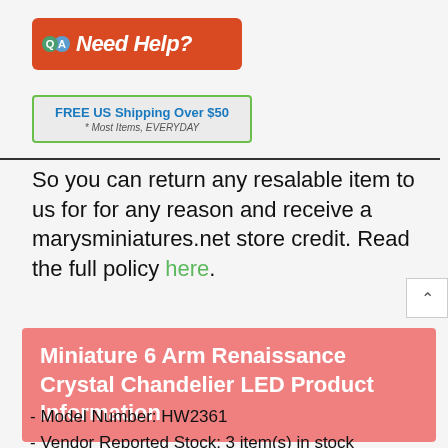[Figure (logo): Red rounded rectangle banner with QA speech bubbles icon and 'Need Help?' text in white italic bold]
[Figure (infographic): Green-bordered box with text 'FREE US Shipping Over $50' in bold blue and '* Most Items, EVERYDAY' in italic gray]
So you can return any resalable item to us for for any reason and receive a marysminiatures.net store credit. Read the full policy here.
Miniature 6 Arm Renaissance Crystal Chandelier LED Product Information
- Model Number: HW2361
- Vendor Reported Stock: 3 item(s) in stock